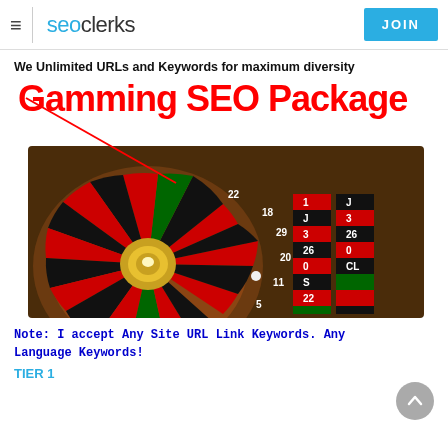seoclerks | JOIN
We Unlimited URLs and Keywords for maximum diversity
[Figure (illustration): Gamming SEO Package promotional image with large red bold text 'Gamming SEO Package' overlaid on a roulette wheel photograph]
Note: I accept Any Site URL Link Keywords. Any Language Keywords!
TIER 1